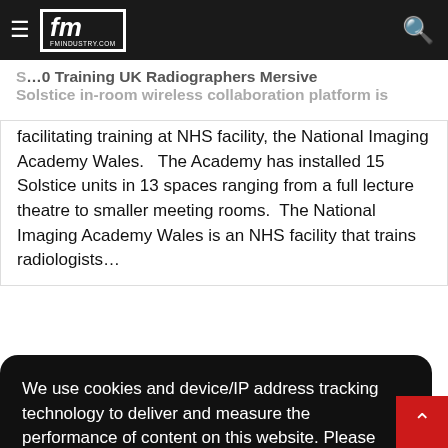fm | fmindustry.com
Training UK Radiographers Mersive Solstice in-room wireless collaboration platform is facilitating training at NHS facility, the National Imaging Academy Wales.
facilitating training at NHS facility, the National Imaging Academy Wales.   The Academy has installed 15 Solstice units in 13 spaces ranging from a full lecture theatre to smaller meeting rooms.  The National Imaging Academy Wales is an NHS facility that trains radiologists…
We use cookies and device/IP address tracking technology to deliver and measure the performance of content on this website. Please confirm you consent to its use.  Learn more
Got it
Driving Better Hygiene Behaviour